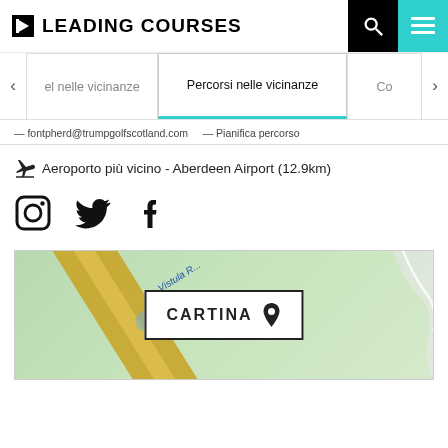LEADING COURSES
el nelle vicinanze  Percorsi nelle vicinanze  Co
— fontpherd@trumpgolfscotland.com  — Pianifica percorso
✈ Aeroporto più vicino - Aberdeen Airport (12.9km)
[Figure (other): Social media icons: Instagram, Twitter, Facebook]
[Figure (map): Map thumbnail showing Vistula area with CARTINA label and location pin icon]